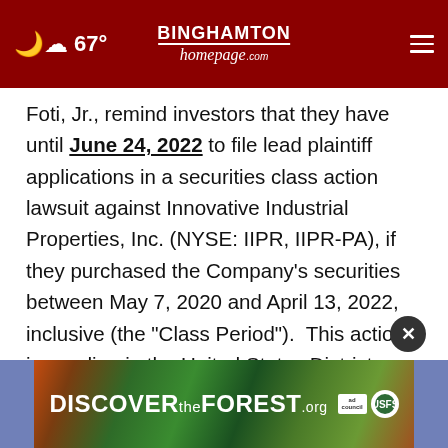67° Binghamton homepage .com
Foti, Jr., remind investors that they have until June 24, 2022 to file lead plaintiff applications in a securities class action lawsuit against Innovative Industrial Properties, Inc. (NYSE: IIPR, IIPR-PA), if they purchased the Company's securities between May 7, 2020 and April 13, 2022, inclusive (the "Class Period").  This action is pending in the United States District Court for the District of New Jersey.
[Figure (other): DISCOVERtheFOREST.org advertisement banner with forest background imagery, Ad Council and US Forest Service logos]